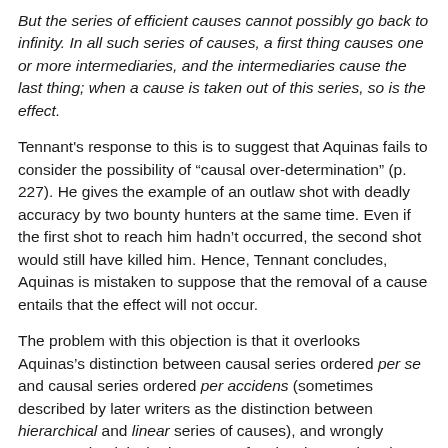But the series of efficient causes cannot possibly go back to infinity. In all such series of causes, a first thing causes one or more intermediaries, and the intermediaries cause the last thing; when a cause is taken out of this series, so is the effect.
Tennant's response to this is to suggest that Aquinas fails to consider the possibility of “causal over-determination” (p. 227). He gives the example of an outlaw shot with deadly accuracy by two bounty hunters at the same time. Even if the first shot to reach him hadn’t occurred, the second shot would still have killed him. Hence, Tennant concludes, Aquinas is mistaken to suppose that the removal of a cause entails that the effect will not occur.
The problem with this objection is that it overlooks Aquinas’s distinction between causal series ordered per se and causal series ordered per accidens (sometimes described by later writers as the distinction between hierarchical and linear series of causes), and wrongly assumes that it is the latter sort of series that Aquinas has in mind in the Second Way. A linear or per accidens causal series characteristically